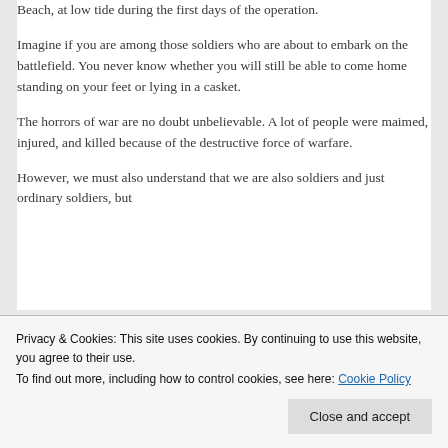Beach, at low tide during the first days of the operation.
Imagine if you are among those soldiers who are about to embark on the battlefield. You never know whether you will still be able to come home standing on your feet or lying in a casket.
The horrors of war are no doubt unbelievable. A lot of people were maimed, injured, and killed because of the destructive force of warfare.
However, we must also understand that we are also soldiers and just ordinary soldiers, but…
Privacy & Cookies: This site uses cookies. By continuing to use this website, you agree to their use.
To find out more, including how to control cookies, see here: Cookie Policy
Close and accept